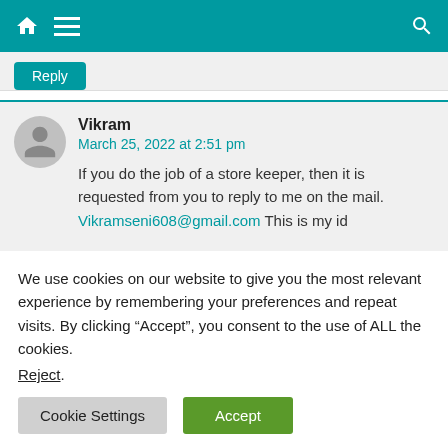[Figure (screenshot): Website navigation bar with teal background, home icon, hamburger menu icon on left, and search icon on right]
Reply
Vikram
March 25, 2022 at 2:51 pm
If you do the job of a store keeper, then it is requested from you to reply to me on the mail. Vikramseni608@gmail.com This is my id
We use cookies on our website to give you the most relevant experience by remembering your preferences and repeat visits. By clicking “Accept”, you consent to the use of ALL the cookies.
Reject.
Cookie Settings
Accept